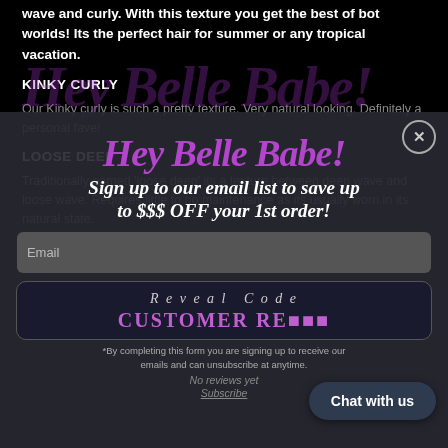wave and curly. With this texture you get the best of bot worlds! Its the perfect hair for summer or any tropical vacation.
KINKY CURLY
Our Kinky curly is such a pretty texture. Very natural looking. Definitely a personal fave!
LOOSE DEEP
Traditionally named 'loose deep' its a texture between deep wave and loose wave. Requires little to no maintenance as its usually worn in its natural state.
[Figure (infographic): Email signup modal overlay with 'Hey Belle Babe!' header, headline 'Sign up to our email list to save up to $$$ OFF your 1st order!', an email input field, a Reveal Code box showing 'CUSTOMER RE...' in purple, fine print, and a 'Chat with us' button.]